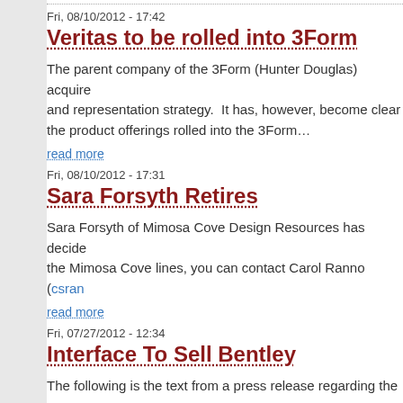Fri, 08/10/2012 - 17:42
Veritas to be rolled into 3Form
The parent company of the 3Form (Hunter Douglas) acquire and representation strategy.  It has, however, become clear the product offerings rolled into the 3Form…
read more
Fri, 08/10/2012 - 17:31
Sara Forsyth Retires
Sara Forsyth of Mimosa Cove Design Resources has decide the Mimosa Cove lines, you can contact Carol Ranno (csran…
read more
Fri, 07/27/2012 - 12:34
Interface To Sell Bentley
The following is the text from a press release regarding the s previous management team led by Anthony Minite.
Dear Valued Interface Customer: